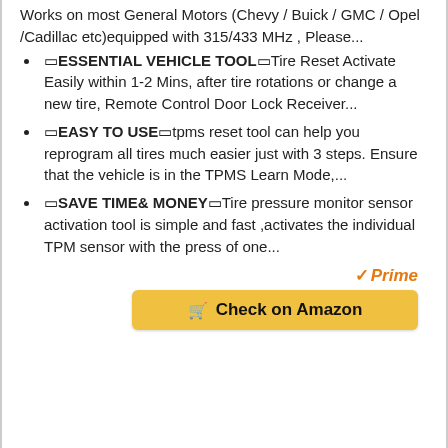Works on most General Motors (Chevy / Buick / GMC / Opel /Cadillac etc)equipped with 315/433 MHz , Please...
🔲ESSENTIAL VEHICLE TOOL🔲Tire Reset Activate Easily within 1-2 Mins, after tire rotations or change a new tire, Remote Control Door Lock Receiver...
🔲EASY TO USE🔲tpms reset tool can help you reprogram all tires much easier just with 3 steps. Ensure that the vehicle is in the TPMS Learn Mode,...
🔲SAVE TIME& MONEY🔲Tire pressure monitor sensor activation tool is simple and fast ,activates the individual TPM sensor with the press of one...
[Figure (logo): Amazon Prime logo with checkmark and 'Prime' text in orange italic]
Check on Amazon